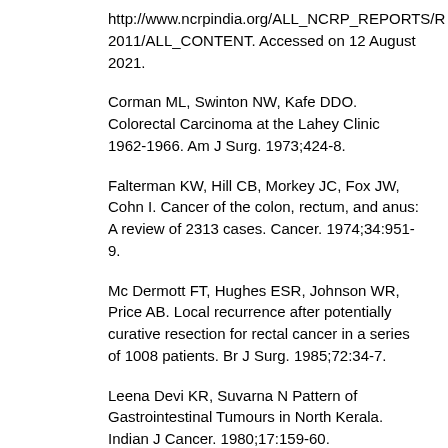http://www.ncrpindia.org/ALL_NCRP_REPORTS/R2011/ALL_CONTENT. Accessed on 12 August 2021.
Corman ML, Swinton NW, Kafe DDO. Colorectal Carcinoma at the Lahey Clinic 1962-1966. Am J Surg. 1973;424-8.
Falterman KW, Hill CB, Morkey JC, Fox JW, Cohn I. Cancer of the colon, rectum, and anus: A review of 2313 cases. Cancer. 1974;34:951-9.
Mc Dermott FT, Hughes ESR, Johnson WR, Price AB. Local recurrence after potentially curative resection for rectal cancer in a series of 1008 patients. Br J Surg. 1985;72:34-7.
Leena Devi KR, Suvarna N Pattern of Gastrointestinal Tumours in North Kerala. Indian J Cancer. 1980;17:159-60.
Tahiyani NDA, Goel TC, Dubey PC. Colorectal carcinoma in young patients. Indian J Surg. 1978;192-4.